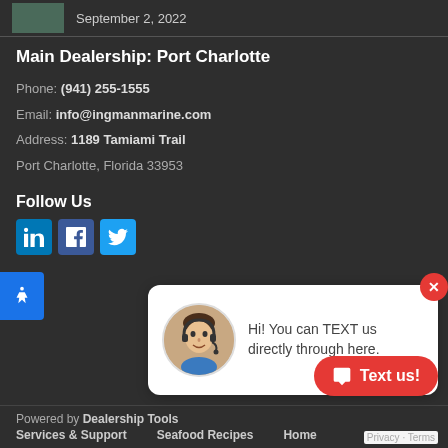September 2, 2022
Main Dealership: Port Charlotte
Phone: (941) 255-1555
Email: info@ingmanmarine.com
Address: 1189 Tamiami Trail
Port Charlotte, Florida 33953
Follow Us
[Figure (screenshot): Chat popup with avatar and message: Hi! You can TEXT us directly through here.]
Hi! You can TEXT us directly through here.
Text us!
Powered by Dealership Tools    Services & Support    Seafood Recipes    Home